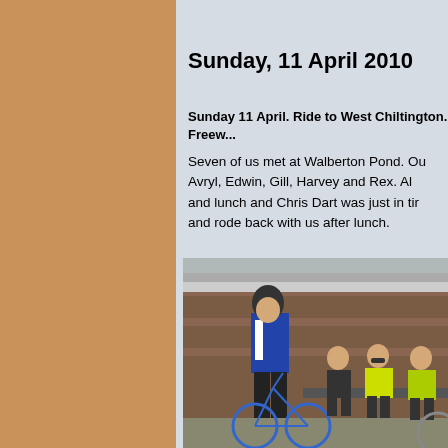Sunday, 11 April 2010
Sunday 11 April. Ride to West Chiltington. Freew...
Seven of us met at Walberton Pond. Our party: Avryl, Edwin, Gill, Harvey and Rex. Al... and lunch and Chris Dart was just in tim... and rode back with us after lunch.
[Figure (photo): Group of cyclists resting at a bus shelter with brick walls. One cyclist in a blue and white jersey stands with a bicycle, while others in high-visibility yellow gear sit on a bench.]